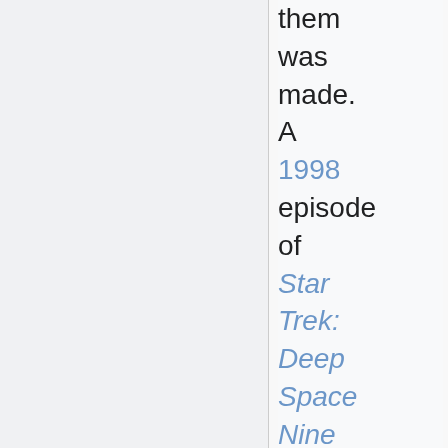them was made. A 1998 episode of Star Trek: Deep Space Nine ("Dr. Bashir I Presume?")